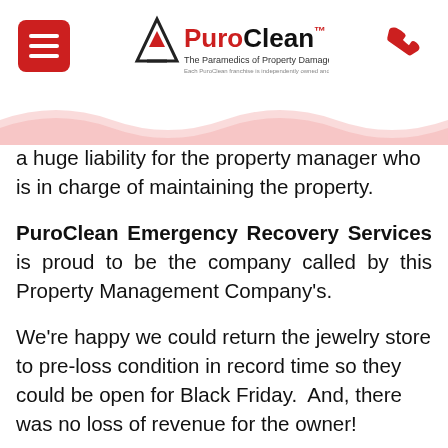[Figure (logo): PuroClean logo with menu icon and phone icon in header]
a huge liability for the property manager who is in charge of maintaining the property.
PuroClean Emergency Recovery Services is proud to be the company called by this Property Management Company's.
We're happy we could return the jewelry store to pre-loss condition in record time so they could be open for Black Friday.  And, there was no loss of revenue for the owner!
Now, we're standing by with the resources to help them complete their Risk Management Plan so that future